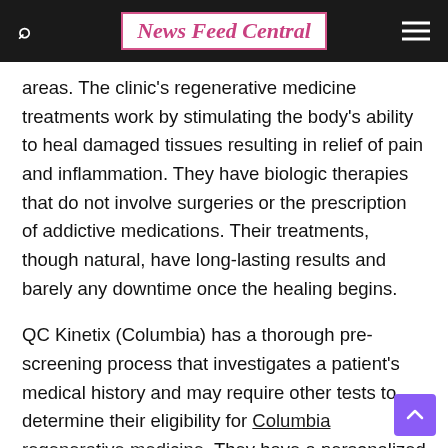News Feed Central
areas. The clinic's regenerative medicine treatments work by stimulating the body's ability to heal damaged tissues resulting in relief of pain and inflammation. They have biologic therapies that do not involve surgeries or the prescription of addictive medications. Their treatments, though natural, have long-lasting results and barely any downtime once the healing begins.
QC Kinetix (Columbia) has a thorough pre-screening process that investigates a patient's medical history and may require other tests to determine their eligibility for Columbia regenerative medicine. They have a personalized approach to treatment that recommends treatments that are most suitable to meet patients' unique health needs. The pain control clinic treats